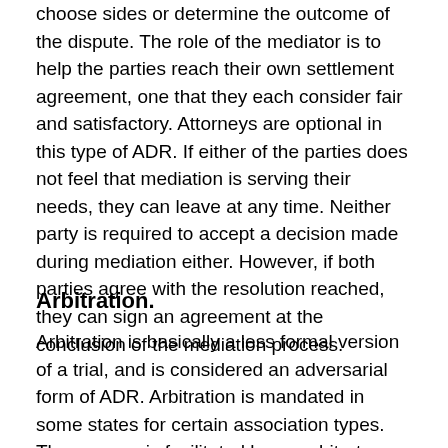choose sides or determine the outcome of the dispute. The role of the mediator is to help the parties reach their own settlement agreement, one that they each consider fair and satisfactory. Attorneys are optional in this type of ADR. If either of the parties does not feel that mediation is serving their needs, they can leave at any time. Neither party is required to accept a decision made during mediation either. However, if both parties agree with the resolution reached, they can sign an agreement at the conclusion of the mediation process.
Arbitration.
Arbitration is basically a less formal version of a trial, and is considered an adversarial form of ADR. Arbitration is mandated in some states for certain association types. The process is facilitated by an arbitrator, whose role is similar to that of a private judge, and both sides are represented by attorneys. The arbitrator hears sworn testimony from witnesses, listens to evidence and reviews any relevant documents